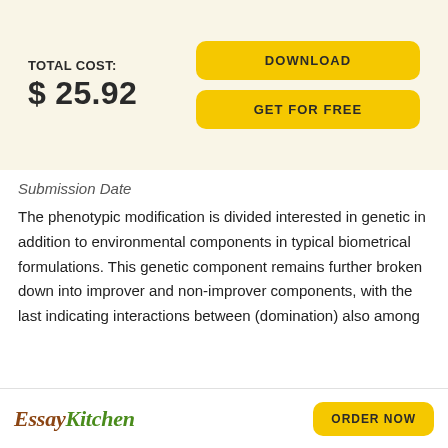TOTAL COST: $ 25.92
DOWNLOAD
GET FOR FREE
Submission Date
The phenotypic modification is divided interested in genetic in addition to environmental components in typical biometrical formulations. This genetic component remains further broken down into improver and non-improver components, with the last indicating interactions between (domination) also among
EssayKitchen  ORDER NOW